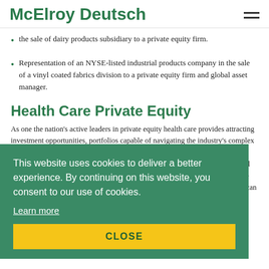McElroy Deutsch
the sale of dairy products subsidiary to a private equity firm.
Representation of an NYSE-listed industrial products company in the sale of a vinyl coated fabrics division to a private equity firm and global asset manager.
Health Care Private Equity
As one the nation's active leaders in private equity health care provides attracting investment opportunities, portfolios capable of navigating the industry's complex regulatory landscape. To successfully structure, analyze, optimize transactions and to maximize value, lenders and health care companies require legal counsel who can help them address key health regulatory issues; who can communicate effectively with regulators and counsel on the other side of the table; and who can bring a deal to closure in a cost-effective, timely manner. McElroy Deutsch's private equity attorneys deliver on all those objectives.
This website uses cookies to deliver a better experience. By continuing on this website, you consent to our use of cookies.
Learn more
CLOSE